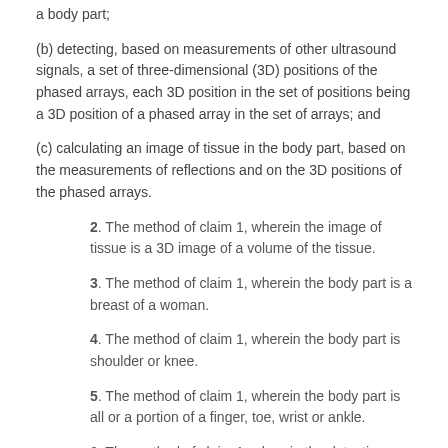a body part;
(b) detecting, based on measurements of other ultrasound signals, a set of three-dimensional (3D) positions of the phased arrays, each 3D position in the set of positions being a 3D position of a phased array in the set of arrays; and
(c) calculating an image of tissue in the body part, based on the measurements of reflections and on the 3D positions of the phased arrays.
2. The method of claim 1, wherein the image of tissue is a 3D image of a volume of the tissue.
3. The method of claim 1, wherein the body part is a breast of a woman.
4. The method of claim 1, wherein the body part is shoulder or knee.
5. The method of claim 1, wherein the body part is all or a portion of a finger, toe, wrist or ankle.
6. The method of claim 1, wherein the detecting includes, for each specific phased array in the set of arrays,